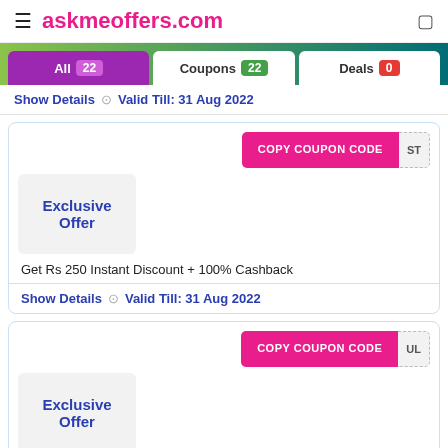askmeoffers.com
All 22   Coupons 22   Deals 0
Show Details   Valid Till: 31 Aug 2022
COPY COUPON CODE
Exclusive Offer
Get Rs 250 Instant Discount + 100% Cashback
Show Details   Valid Till: 31 Aug 2022
COPY COUPON CODE
Exclusive Offer
Simpl Offer – Up To Rs 300 Cashback